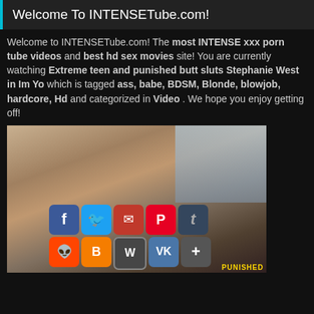Welcome To INTENSETube.com!
Welcome to INTENSETube.com! The most INTENSE xxx porn tube videos and best hd sex movies site! You are currently watching Extreme teen and punished butt sluts Stephanie West in Im Yo which is tagged ass, babe, BDSM, Blonde, blowjob, hardcore, Hd and categorized in Video . We hope you enjoy getting off!
[Figure (photo): Video thumbnail showing adult content with social sharing buttons overlay including Facebook, Twitter, Email, Pinterest, Tumblr, Reddit, Blogger, WordPress, VK, and a plus button. Watermark reads PUNISHED in gold text.]